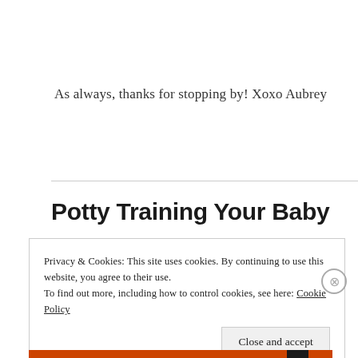As always, thanks for stopping by! Xoxo Aubrey
Potty Training Your Baby
Privacy & Cookies: This site uses cookies. By continuing to use this website, you agree to their use.
To find out more, including how to control cookies, see here: Cookie Policy
Close and accept